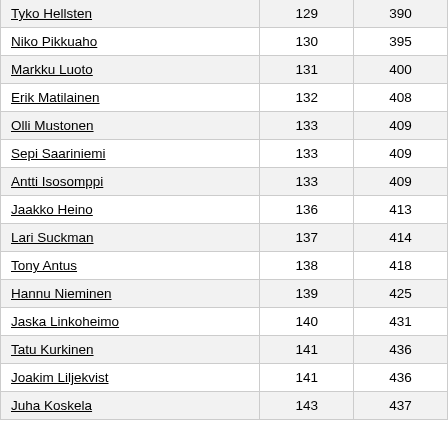| Tyko Hellsten | 129 | 390 |
| Niko Pikkuaho | 130 | 395 |
| Markku Luoto | 131 | 400 |
| Erik Matilainen | 132 | 408 |
| Olli Mustonen | 133 | 409 |
| Sepi Saariniemi | 133 | 409 |
| Antti Isosomppi | 133 | 409 |
| Jaakko Heino | 136 | 413 |
| Lari Suckman | 137 | 414 |
| Tony Antus | 138 | 418 |
| Hannu Nieminen | 139 | 425 |
| Jaska Linkoheimo | 140 | 431 |
| Tatu Kurkinen | 141 | 436 |
| Joakim Liljekvist | 141 | 436 |
| Juha Koskela | 143 | 437 |